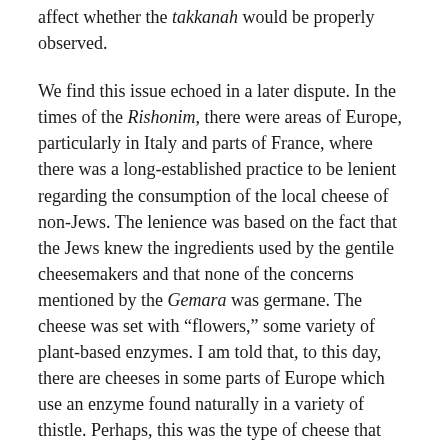affect whether the takkanah would be properly observed.
We find this issue echoed in a later dispute. In the times of the Rishonim, there were areas of Europe, particularly in Italy and parts of France, where there was a long-established practice to be lenient regarding the consumption of the local cheese of non-Jews. The lenience was based on the fact that the Jews knew the ingredients used by the gentile cheesemakers and that none of the concerns mentioned by the Gemara was germane. The cheese was set with “flowers,” some variety of plant-based enzymes. I am told that, to this day, there are cheeses in some parts of Europe which use an enzyme found naturally in a variety of thistle. Perhaps, this was the type of cheese that these communities used.